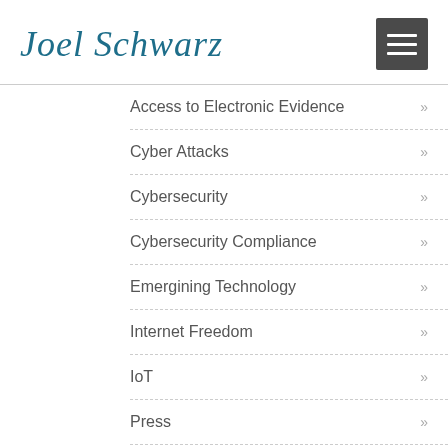Joel Schwarz
Access to Electronic Evidence
Cyber Attacks
Cybersecurity
Cybersecurity Compliance
Emergining Technology
Internet Freedom
IoT
Press
Privacy